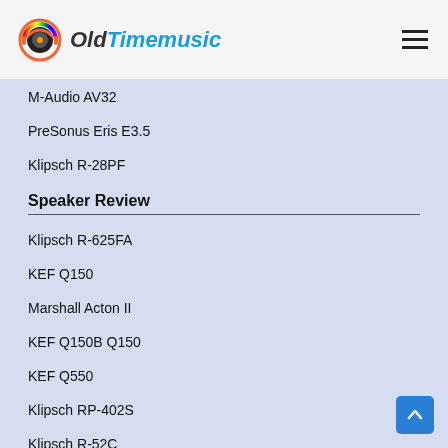OldTimemusic
M-Audio AV32
PreSonus Eris E3.5
Klipsch R-28PF
Speaker Review
Klipsch R-625FA
KEF Q150
Marshall Acton II
KEF Q150B Q150
KEF Q550
Klipsch RP-402S
Klipsch R-52C